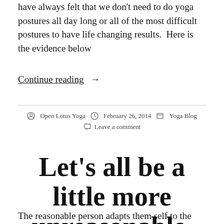have always felt that we don't need to do yoga postures all day long or all of the most difficult postures to have life changing results.  Here is the evidence below
Continue reading  →
By  Open Lotus Yoga   February 26, 2014   Yoga Blog   Leave a comment
Let's all be a little more unreasonable.
The reasonable person adapts them self to the world; the